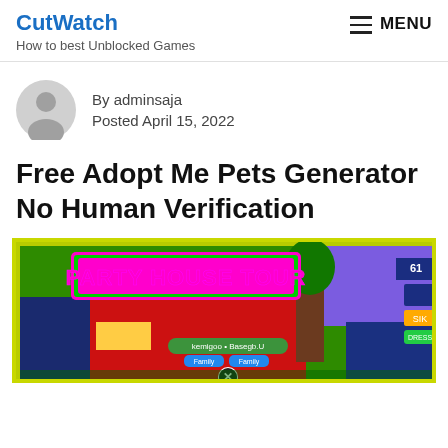CutWatch
How to best Unblocked Games
By adminsaja
Posted April 15, 2022
Free Adopt Me Pets Generator No Human Verification
[Figure (screenshot): Screenshot from Roblox Adopt Me game showing a colorful Party House Tour scene with bright neon colors, pink text 'PARTY HOUSE TOUR' on a green banner, and game UI elements including character names and icons.]